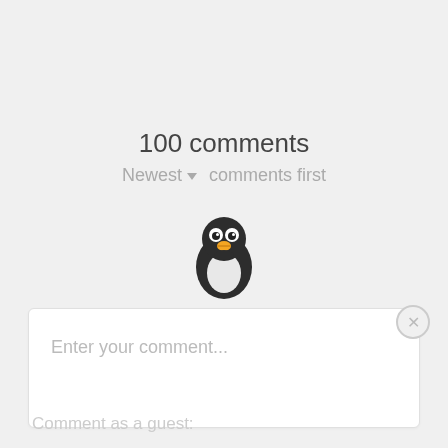100 comments
Newest ▼  comments first
[Figure (illustration): Penguin emoji icon — black and white cartoon penguin with orange beak and feet, round white belly]
Enter your comment...
Comment as a guest: